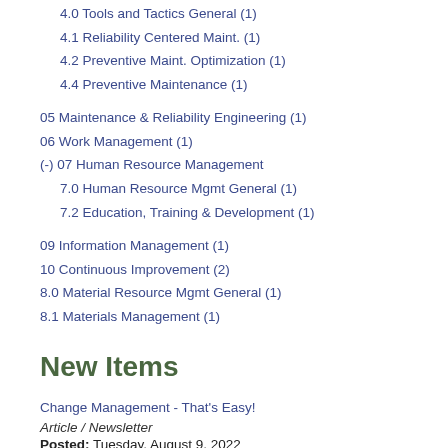4.0 Tools and Tactics General (1)
4.1 Reliability Centered Maint. (1)
4.2 Preventive Maint. Optimization (1)
4.4 Preventive Maintenance (1)
05 Maintenance & Reliability Engineering (1)
06 Work Management (1)
(-) 07 Human Resource Management
7.0 Human Resource Mgmt General (1)
7.2 Education, Training & Development (1)
09 Information Management (1)
10 Continuous Improvement (2)
8.0 Material Resource Mgmt General (1)
8.1 Materials Management (1)
New Items
Change Management - That's Easy!
Article / Newsletter
Posted: Tuesday, August 9, 2022